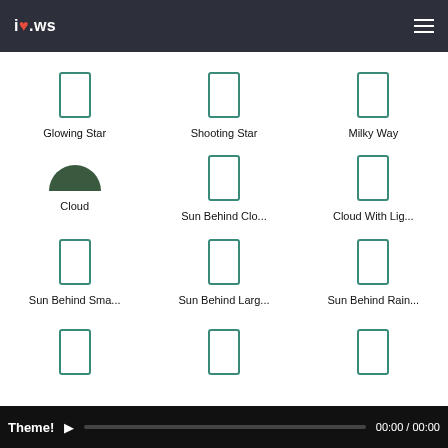i♥.ws
Glowing Star
Shooting Star
Milky Way
Cloud
Sun Behind Clo...
Cloud With Lig...
Sun Behind Sma...
Sun Behind Larg...
Sun Behind Rain...
(truncated row 4 item 1)
(truncated row 4 item 2)
(truncated row 4 item 3)
Theme! ▶ 00:00 / 00:00